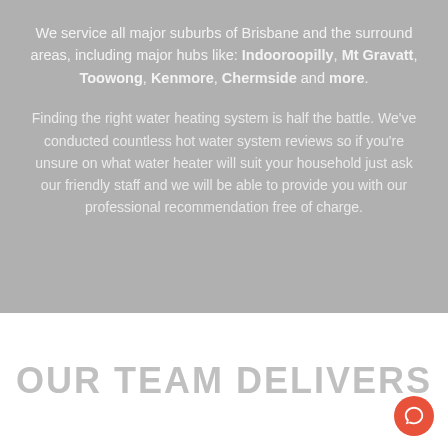We service all major suburbs of Brisbane and the surround areas, including major hubs like: Indooroopilly, Mt Gravatt, Toowong, Kenmore, Chermside and more.
Finding the right water heating system is half the battle. We've conducted countless hot water system reviews so if you're unsure on what water heater will suit your household just ask our friendly staff and we will be able to provide you with our professional recommendation free of charge.
OUR TEAM DELIVERS